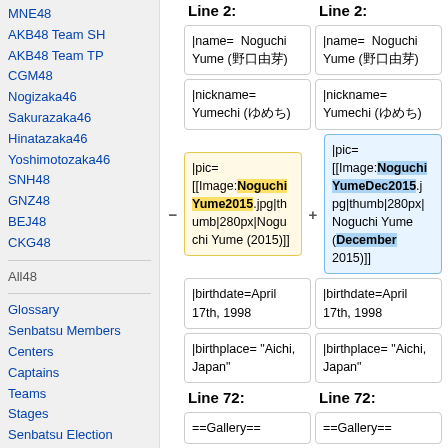MNE48
AKB48 Team SH
AKB48 Team TP
CGM48
Nogizaka46
Sakurazaka46
Hinatazaka46
Yoshimotozaka46
SNH48
GNZ48
BEJ48
CKG48
All48
Glossary
Senbatsu Members
Centers
Captains
Teams
Stages
Senbatsu Election
Janken Tournament
Request Hour
Draft Kaigi
Line 2: (left column header)
Line 2: (right column header)
|name= Noguchi Yume (野口由芽)
|name= Noguchi Yume (野口由芽)
|nickname= Yumechi (ゆめち)
|nickname= Yumechi (ゆめち)
|pic= [[Image:NoguchiYume2015.jpg|thumb|280px|Noguchi Yume (2015)]]
|pic= [[Image:NoguchiYumeDec2015.jpg|thumb|280px|Noguchi Yume (December 2015)]]
|birthdate=April 17th, 1998
|birthdate=April 17th, 1998
|birthplace= "Aichi, Japan"
|birthplace= "Aichi, Japan"
Line 72: (left column header)
Line 72: (right column header)
==Gallery==
==Gallery==